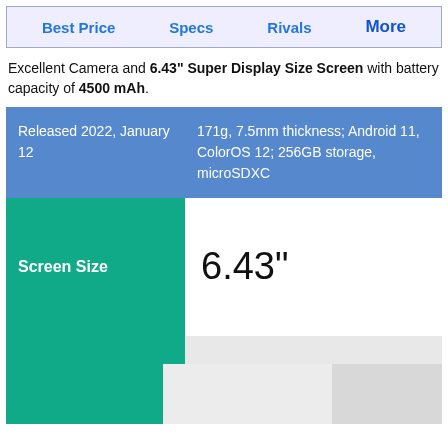Best Price | Specs | Rivals | More
Excellent Camera and 6.43" Super Display Size Screen with battery capacity of 4500 mAh.
|  |  |
| --- | --- |
| Released 2022, January 12 | 171g, 7.5mm thickness; Android 11, ColorOS 12; 256GB storage, microSDXC |
| Screen Size | 6.43" |